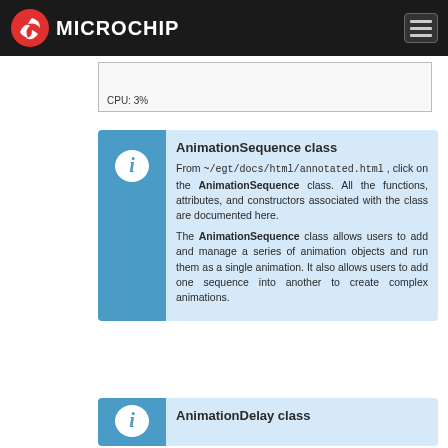Microchip
CPU: 3%
AnimationSequence class
From ~/egt/docs/html/annotated.html , click on the AnimationSequence class. All the functions, attributes, and constructors associated with the class are documented here.

The AnimationSequence class allows users to add and manage a series of animation objects and run them as a single animation. It also allows users to add one sequence into another to create complex animations.
AnimationDelay class